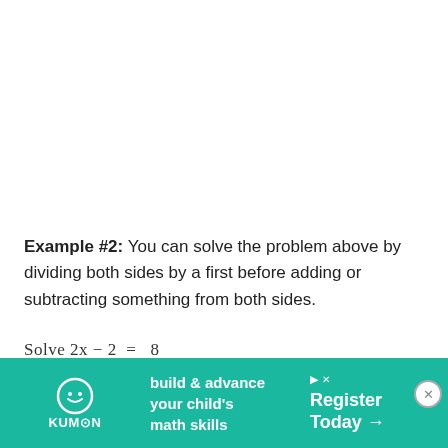Example #2: You can solve the problem above by dividing both sides by a first before adding or subtracting something from both sides.
Step 1 – Write the equation … 2x — 2 = 8
[Figure (other): Kumon advertisement banner: 'build & advance your child's math skills' with Register Today arrow button and close button]